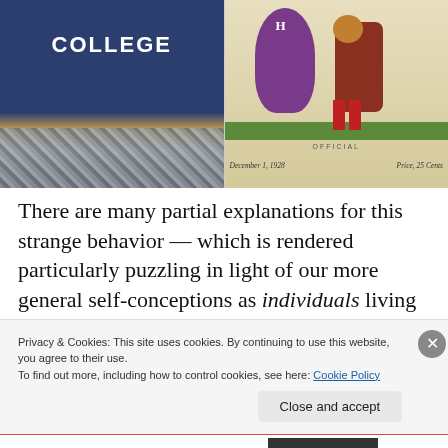[Figure (photo): Two images side by side: left shows a person wearing a dark blue 'COLLEGE' sweatshirt holding a bottle; right shows a vintage football program cover dated December 1, 1928, price 25 cents, with illustrated mascot figures, labeled OFFICIAL.]
There are many partial explanations for this strange behavior — which is rendered particularly puzzling in light of our more general self-conceptions as individuals living
Privacy & Cookies: This site uses cookies. By continuing to use this website, you agree to their use.
To find out more, including how to control cookies, see here: Cookie Policy